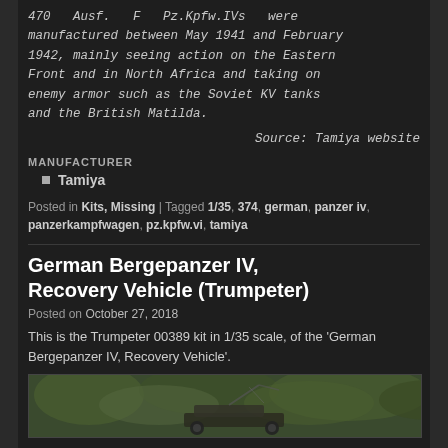470 Ausf. F Pz.Kpfw.IVs were manufactured between May 1941 and February 1942, mainly seeing action on the Eastern Front and in North Africa and taking on enemy armor such as the Soviet KV tanks and the British Matilda.
Source: Tamiya website
MANUFACTURER
Tamiya
Posted in Kits, Missing | Tagged 1/35, 374, german, panzer iv, panzerkampfwagen, pz.kpfw.vi, tamiya
German Bergepanzer IV, Recovery Vehicle (Trumpeter)
Posted on October 27, 2018
This is the Trumpeter 00389 kit in 1/35 scale, of the 'German Bergepanzer IV, Recovery Vehicle'.
[Figure (photo): Photo of the German Bergepanzer IV Recovery Vehicle model kit, shown in an outdoor/natural setting with foliage in the background.]